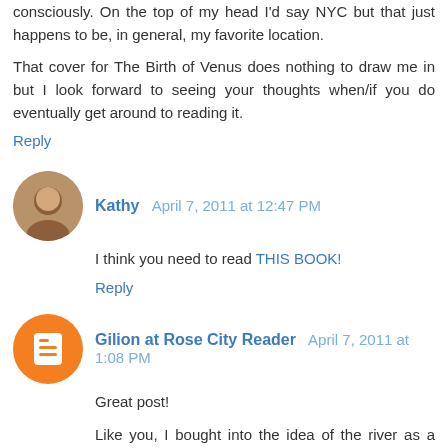consciously. On the top of my head I'd say NYC but that just happens to be, in general, my favorite location.
That cover for The Birth of Venus does nothing to draw me in but I look forward to seeing your thoughts when/if you do eventually get around to reading it.
Reply
Kathy April 7, 2011 at 12:47 PM
I think you need to read THIS BOOK!
Reply
Gilion at Rose City Reader April 7, 2011 at 1:08 PM
Great post!
Like you, I bought into the idea of the river as a character in HF and have been keen on books that make the most of their locations ever since.